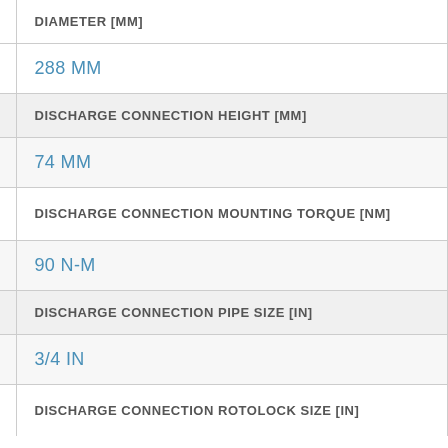| Property | Value |
| --- | --- |
| DIAMETER [MM] | 288 MM |
| DISCHARGE CONNECTION HEIGHT [MM] | 74 MM |
| DISCHARGE CONNECTION MOUNTING TORQUE [NM] | 90 N-M |
| DISCHARGE CONNECTION PIPE SIZE [IN] | 3/4 IN |
| DISCHARGE CONNECTION ROTOLOCK SIZE [IN] |  |